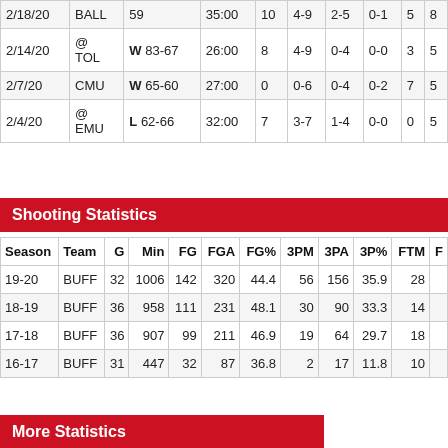| Date | Opp | Result | Min | PTS | FG | 3PT | FT | REB | ... |
| --- | --- | --- | --- | --- | --- | --- | --- | --- | --- |
| 2/18/20 | BALL | 59 | 35:00 | 10 | 4-9 | 2-5 | 0-1 | 5 | 8 |
| 2/14/20 | @ TOL | W 83-67 | 26:00 | 8 | 4-9 | 0-4 | 0-0 | 3 | 5 |
| 2/7/20 | CMU | W 65-60 | 27:00 | 0 | 0-6 | 0-4 | 0-2 | 7 | 5 |
| 2/4/20 | @ EMU | L 62-66 | 32:00 | 7 | 3-7 | 1-4 | 0-0 | 0 | 5 |
Shooting Statistics
| Season | Team | G | Min | FG | FGA | FG% | 3PM | 3PA | 3P% | FTM | F... |
| --- | --- | --- | --- | --- | --- | --- | --- | --- | --- | --- | --- |
| 19-20 | BUFF | 32 | 1006 | 142 | 320 | 44.4 | 56 | 156 | 35.9 | 28 |  |
| 18-19 | BUFF | 36 | 958 | 111 | 231 | 48.1 | 30 | 90 | 33.3 | 14 |  |
| 17-18 | BUFF | 36 | 907 | 99 | 211 | 46.9 | 19 | 64 | 29.7 | 18 |  |
| 16-17 | BUFF | 31 | 447 | 32 | 87 | 36.8 | 2 | 17 | 11.8 | 10 |  |
More Statistics